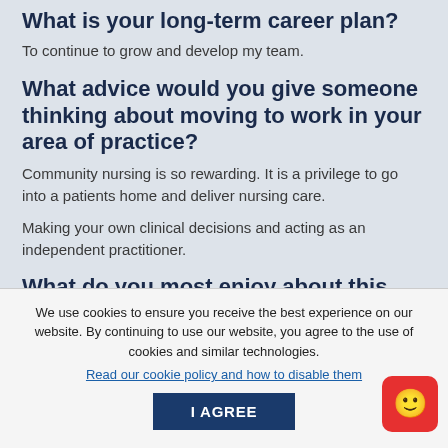What is your long-term career plan?
To continue to grow and develop my team.
What advice would you give someone thinking about moving to work in your area of practice?
Community nursing is so rewarding. It is a privilege to go into a patients home and deliver nursing care.
Making your own clinical decisions and acting as an independent practitioner.
What do you most enjoy about this area of care?
We use cookies to ensure you receive the best experience on our website. By continuing to use our website, you agree to the use of cookies and similar technologies.
Read our cookie policy and how to disable them
I AGREE